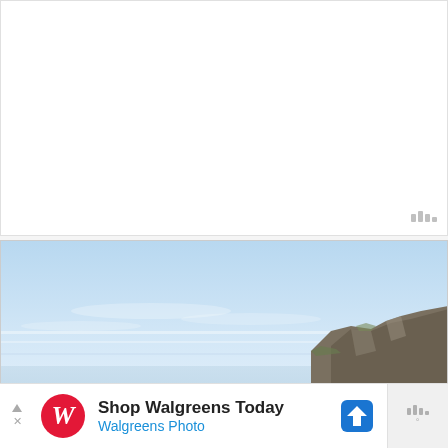[Figure (other): Empty white content area, top portion of a web page screenshot]
[Figure (photo): Landscape photograph showing cliffs by the sea (Cliffs of Moher style) with a pale blue sky and rocky coastal cliffs on the right side]
[Figure (other): Walgreens advertisement banner reading 'Shop Walgreens Today' with Walgreens Photo subtitle, featuring the Walgreens W logo and a navigation/directions icon, with a weather widget on the right]